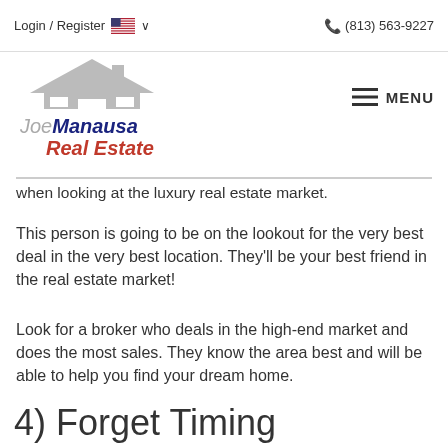Login / Register  🇺🇸 ∨   (813) 563-9227
[Figure (logo): Joe Manausa Real Estate logo with house icon above the text. 'Joe' in gray italic, 'Manausa' in dark blue bold italic, 'Real Estate' in red bold italic below.]
when looking at the luxury real estate market.
This person is going to be on the lookout for the very best deal in the very best location. They'll be your best friend in the real estate market!
Look for a broker who deals in the high-end market and does the most sales. They know the area best and will be able to help you find your dream home.
4) Forget Timing